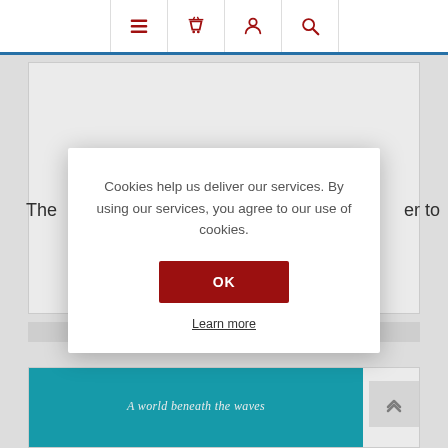Navigation bar with menu, basket, account, and search icons
The ... er to
[Figure (screenshot): Cookie consent modal dialog with text: Cookies help us deliver our services. By using our services, you agree to our use of cookies. OK button and Learn more link.]
Cookies help us deliver our services. By using our services, you agree to our use of cookies.
OK
Learn more
[Figure (illustration): Book cover with cyan/teal background and text 'A world beneath the waves']